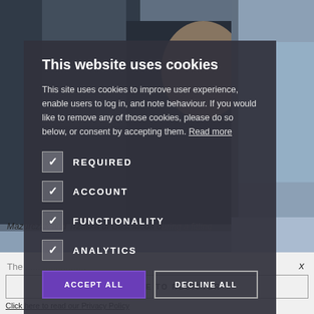[Figure (photo): Background photo of men, partially obscured by cookie consent modal overlay]
This website uses cookies
This site uses cookies to improve user experience, enable users to log in, and note behaviour. If you would like to remove any of those cookies, please do so below, or consent by accepting them. Read more
REQUIRED (checked)
ACCOUNT (checked)
FUNCTIONALITY (checked)
ANALYTICS (checked)
ACCEPT ALL   DECLINE ALL
Mazurczak and Trzaska of Gest Moda during a fitting
The... x
CLICK HERE TO REGISTER
Click here to read our Privacy Policy